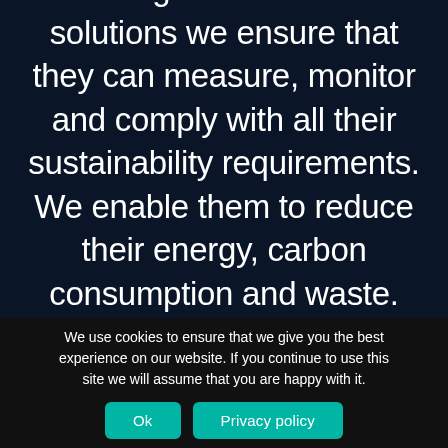Through innovative IT solutions we ensure that they can measure, monitor and comply with all their sustainability requirements. We enable them to reduce their energy, carbon consumption and waste. Finally we help them
We use cookies to ensure that we give you the best experience on our website. If you continue to use this site we will assume that you are happy with it.